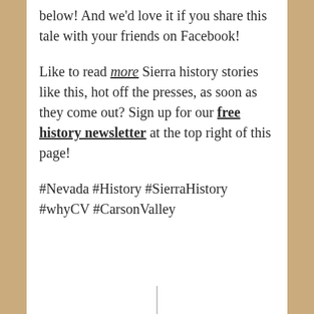below! And we'd love it if you share this tale with your friends on Facebook!
Like to read more Sierra history stories like this, hot off the presses, as soon as they come out? Sign up for our free history newsletter at the top right of this page!
#Nevada #History #SierraHistory #whyCV #CarsonValley